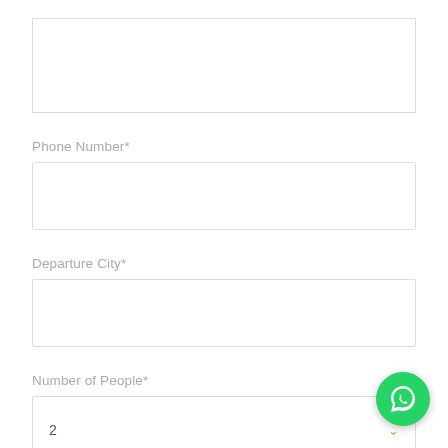[Figure (other): Empty text input field at top of form]
Phone Number*
[Figure (other): Empty text input field for phone number]
Departure City*
[Figure (other): Empty text input field for departure city]
Number of People*
[Figure (other): Dropdown select field showing value 2 with chevron arrow]
Tentative Travel Date*
[Figure (other): WhatsApp contact button (green circle with phone icon) in bottom right corner]